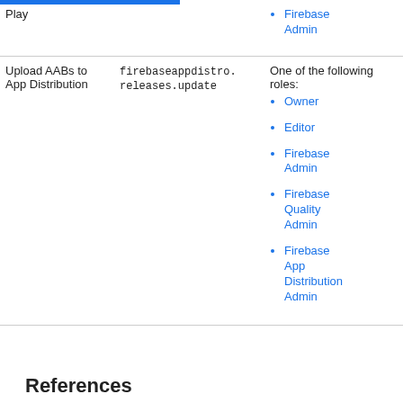| Action | Required permission | Required role |  |
| --- | --- | --- | --- |
| Upload AABs to App Distribution | firebaseappdistro.releases.update | One of the following roles:
• Owner
• Editor
• Firebase Admin
• Firebase Quality Admin
• Firebase App Distribution Admin | -- |
References